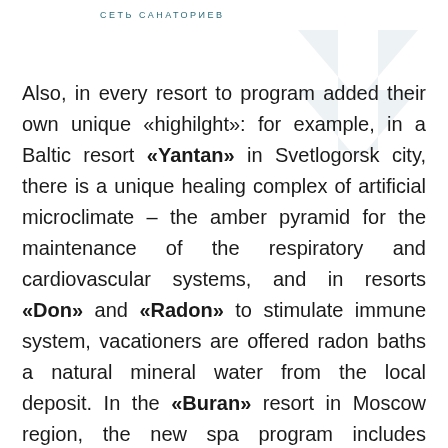СЕТЬ САНАТОРИЕВ
Also, in every resort to program added their own unique «highilght»: for example, in a Baltic resort «Yantan» in Svetlogorsk city, there is a unique healing complex of artificial microclimate – the amber pyramid for the maintenance of the respiratory and cardiovascular systems, and in resorts «Don» and «Radon» to stimulate immune system, vacationers are offered radon baths a natural mineral water from the local deposit. In the «Buran» resort in Moscow region, the new spa program includes intravenous ozone therapy procedures. Complex balneological procedures: iodine-bromine, pearl, foam-licorice baths are offered to vacationers at the «Dolina Narzanov» in